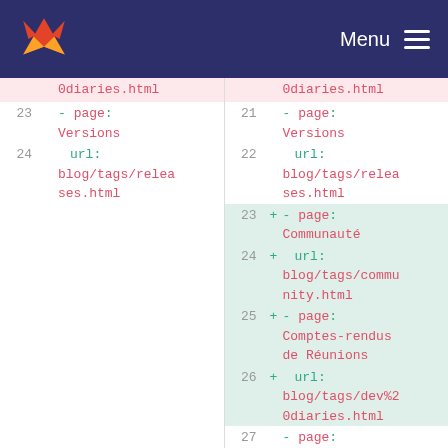GitLab — Menu
Diff view showing YAML configuration changes. Left panel: lines 22-25 (removed/unchanged), Right panel: lines 20-27 (with additions for Communauté, Comptes-rendus de Réunions entries)